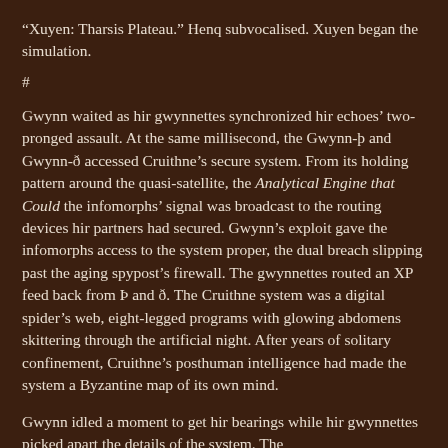“Xuyen: Tharsis Plateau.” Henq subvocalised. Xuyen began the simulation.
#
Gwynn waited as hir gwynnettes synchronized hir echoes’ two-pronged assault. At the same millisecond, the Gwynn-þ and Gwynn-ð accessed Cruithne’s secure system. From its holding pattern around the quasi-satellite, the Analytical Engine that Could the infomorphs’ signal was broadcast to the routing devices hir partners had secured. Gwynn’s exploit gave the infomorphs access to the system proper, the dual breach slipping past the aging spypost’s firewall. The gwynnettes routed an XP feed back from Þ and ð. The Cruithne system was a digital spider’s web, eight-legged programs with glowing abdomens skittering through the artificial night. After years of solitary confinement, Cruithne’s posthuman intelligence had made the system a Byzantine map of its own mind.
Gwynn idled a moment to get hir bearings while hir gwynnettes picked apart the details of the system. The